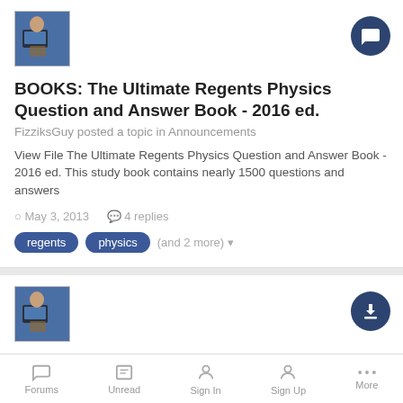[Figure (photo): Avatar image of a person typing at a computer, shown in small thumbnail]
BOOKS: The Ultimate Regents Physics Question and Answer Book - 2016 ed.
FizziksGuy posted a topic in Announcements
View File The Ultimate Regents Physics Question and Answer Book - 2016 ed. This study book contains nearly 1500 questions and answers
May 3, 2013   4 replies
regents
physics
(and 2 more)
[Figure (photo): Avatar image of a person typing at a computer, shown in small thumbnail]
The Ultimate Regents Physics Question and Answer Book - 2016 ed.
Forums   Unread   Sign In   Sign Up   More